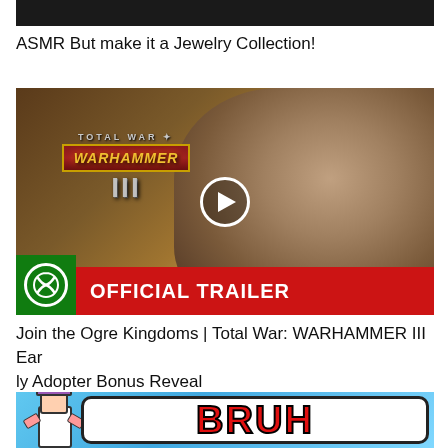[Figure (screenshot): Partial thumbnail of a video at the top, dark background]
ASMR But make it a Jewelry Collection!
[Figure (screenshot): Total War: WARHAMMER III video thumbnail showing a monstrous ogre creature with the official trailer banner and Xbox logo]
Join the Ogre Kingdoms | Total War: WARHAMMER III Early Adopter Bonus Reveal
[Figure (screenshot): Partial thumbnail showing a Roblox-style character with the word BRUH in red on a blue background]